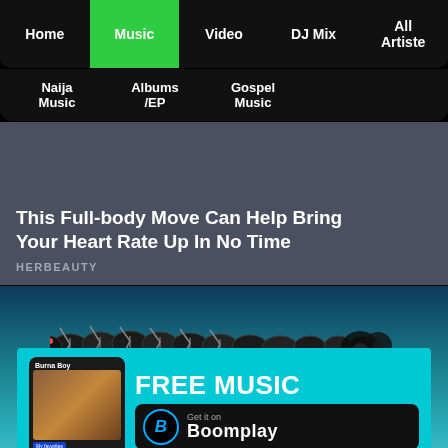Home | Music | Video | DJ Mix | All Artiste
Naija Music | Albums /EP | Gospel Music
[Figure (screenshot): Advertisement banner: This Full-body Move Can Help Bring Your Heart Rate Up In No Time - HERBEAUTY]
[Figure (screenshot): Boomplay advertisement with ocean/centipede background showing FREE MUSIC - Get it on Boomplay button with Burna Boy album art on phone mockup]